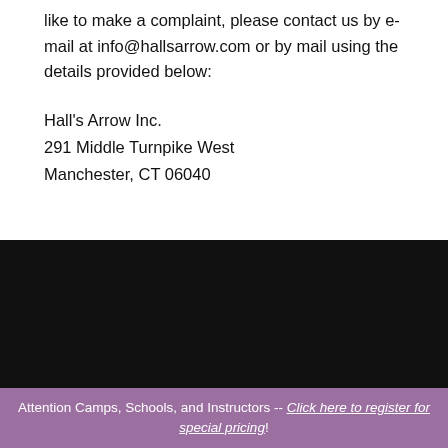like to make a complaint, please contact us by e-mail at info@hallsarrow.com or by mail using the details provided below:
Hall's Arrow Inc.
291 Middle Turnpike West
Manchester, CT 06040
Attention Camps, Schools, and Instructors -- Click here to register for special pricing!